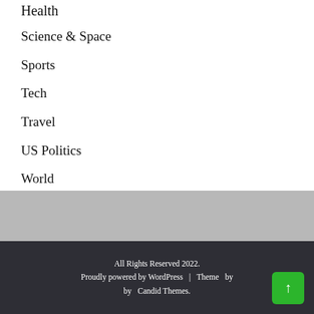Health
Science & Space
Sports
Tech
Travel
US Politics
World
All Rights Reserved 2022. Proudly powered by WordPress | Theme by Candid Themes.